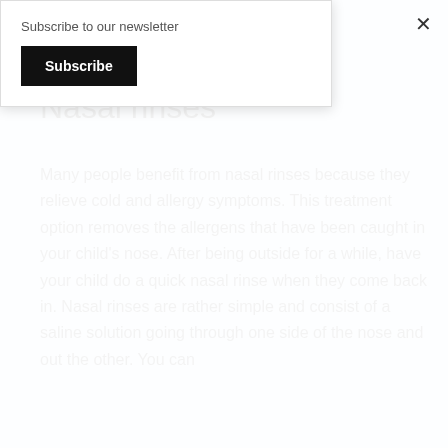Subscribe to our newsletter
Subscribe
p...g...
Nasal rinses
Many people benefit from nasal rinses because they relieve cold and allergy symptoms. This treatment option removes the allergens that have been caught in your child's nose. After being outside for a while, have your child do a quick nasal rinse when they come back in. Nasal rinses are rather simple and consist of a saline solution going through one side of the nose and out the other. You can